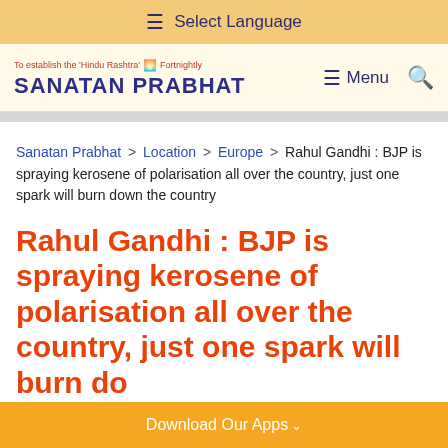☰ Select Language
To establish the 'Hindu Rashtra' 🌅 Fortnightly
SANATAN PRABHAT
☰ Menu 🔍
Sanatan Prabhat > Location > Europe > Rahul Gandhi : BJP is spraying kerosene of polarisation all over the country, just one spark will burn down the country
Rahul Gandhi : BJP is spraying kerosene of polarisation all over the country, just one spark will burn down the country
Download Our Apps∨